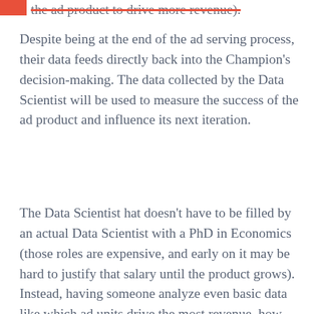the ad product to drive more revenue).
Despite being at the end of the ad serving process, their data feeds directly back into the Champion's decision-making. The data collected by the Data Scientist will be used to measure the success of the ad product and influence its next iteration.
The Data Scientist hat doesn't have to be filled by an actual Data Scientist with a PhD in Economics (those roles are expensive, and early on it may be hard to justify that salary until the product grows). Instead, having someone analyze even basic data like which ad units drive the most revenue, how different targeting influences click-through-rates, and overall advertiser growth is important in identifying signals that can influence the future of